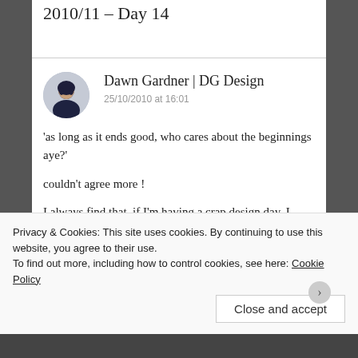2010/11 – Day 14
[Figure (photo): Circular avatar photo of Dawn Gardner, a woman with dark hair]
Dawn Gardner | DG Design
25/10/2010 at 16:01
‘as long as it ends good, who cares about the beginnings aye?’
couldn't agree more !
I always find that, if I’m having a crap design day, I know that if I keep working on it, eventually, by the end of the day, I will be really pleased with it !
Privacy & Cookies: This site uses cookies. By continuing to use this website, you agree to their use.
To find out more, including how to control cookies, see here: Cookie Policy
Close and accept